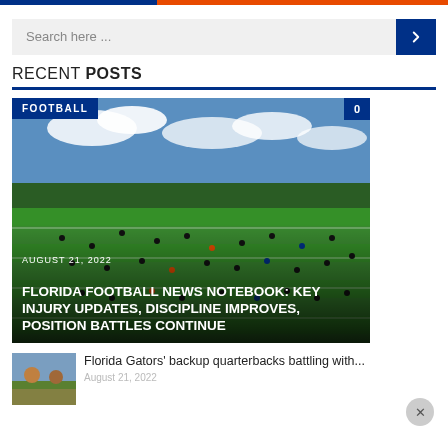Search here ...
RECENT POSTS
[Figure (photo): Aerial view of Florida Gators football practice on a green field with players spread out, blue sky with clouds, and trees in background. Overlaid tags: FOOTBALL (top-left), 0 (top-right), date AUGUST 21, 2022, and headline FLORIDA FOOTBALL NEWS NOTEBOOK: KEY INJURY UPDATES, DISCIPLINE IMPROVES, POSITION BATTLES CONTINUE]
AUGUST 21, 2022 — FLORIDA FOOTBALL NEWS NOTEBOOK: KEY INJURY UPDATES, DISCIPLINE IMPROVES, POSITION BATTLES CONTINUE
Florida Gators' backup quarterbacks battling with...
August 21, 2022